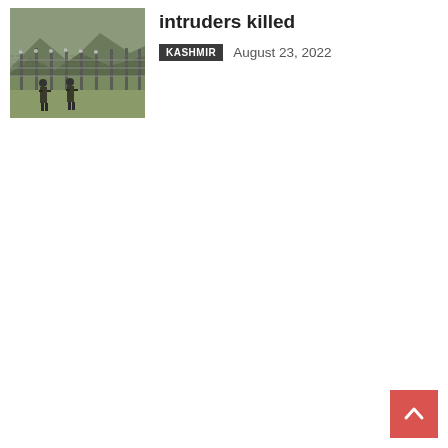[Figure (photo): Soldiers patrolling along a border fence with barbed wire in a mountainous landscape.]
intruders killed
KASHMIR   August 23, 2022